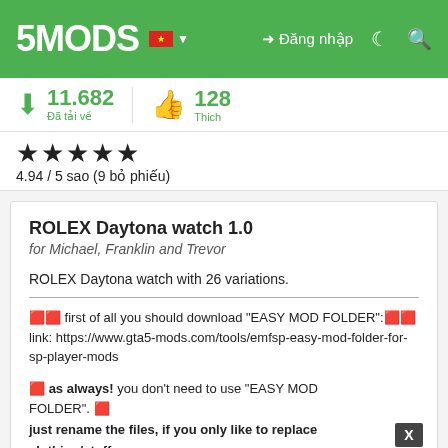5MODS — Đăng nhập
11.682 Đã tải về | 128 Thich
★★★★★ 4.94 / 5 sao (9 bỏ phiếu)
ROLEX Daytona watch 1.0
for Michael, Franklin and Trevor
ROLEX Daytona watch with 26 variations.
🔴🔴 first of all you should download "EASY MOD FOLDER":🔴🔴 link: https://www.gta5-mods.com/tools/emfsp-easy-mod-folder-for-sp-player-mods
🔴 as always! you don't need to use "EASY MOD FOLDER". 🔴 just rename the files, if you only like to replace clothing/stuff.